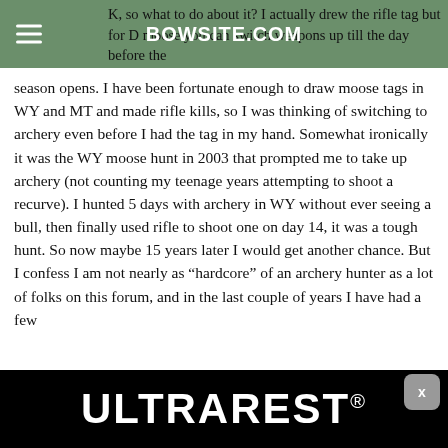BOWSITE.COM
K, so what to do about it? I actually drew the rifle tag but for D moose you can switch weapons up till the day before the season opens. I have been fortunate enough to draw moose tags in WY and MT and made rifle kills, so I was thinking of switching to archery even before I had the tag in my hand. Somewhat ironically it was the WY moose hunt in 2003 that prompted me to take up archery (not counting my teenage years attempting to shoot a recurve). I hunted 5 days with archery in WY without ever seeing a bull, then finally used rifle to shoot one on day 14, it was a tough hunt. So now maybe 15 years later I would get another chance. But I confess I am not nearly as “hardcore” of an archery hunter as a lot of folks on this forum, and in the last couple of years I have had a few
[Figure (logo): ULTRAREST advertisement banner on black background with close button]